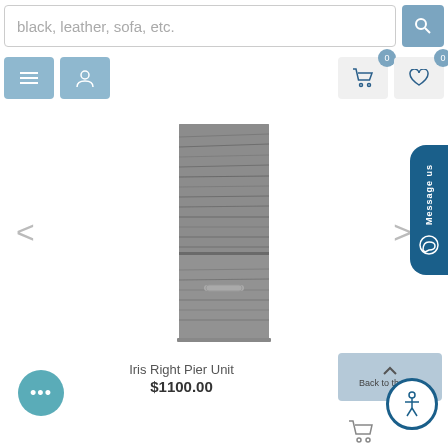[Figure (screenshot): E-commerce website header with search bar and navigation buttons]
[Figure (photo): Tall gray wood-grain cabinet/pier unit with shelving on top and door on bottom]
Iris Right Pier Unit
$1100.00
[Figure (other): Back to the Top button]